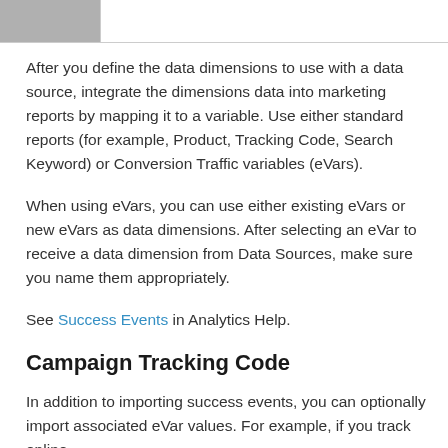After you define the data dimensions to use with a data source, integrate the dimensions data into marketing reports by mapping it to a variable. Use either standard reports (for example, Product, Tracking Code, Search Keyword) or Conversion Traffic variables (eVars).
When using eVars, you can use either existing eVars or new eVars as data dimensions. After selecting an eVar to receive a data dimension from Data Sources, make sure you name them appropriately.
See Success Events in Analytics Help.
Campaign Tracking Code
In addition to importing success events, you can optionally import associated eVar values. For example, if you track online